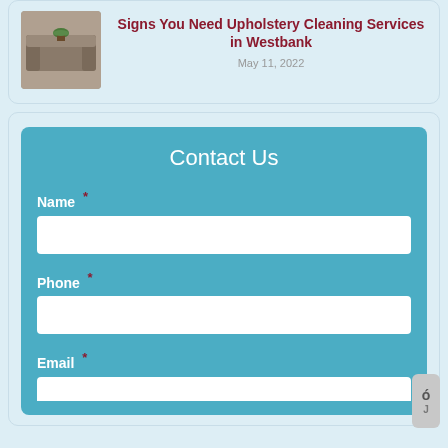[Figure (photo): Thumbnail image of upholstery/sofa with a small plant]
Signs You Need Upholstery Cleaning Services in Westbank
May 11, 2022
Contact Us
Name *
Phone *
Email *